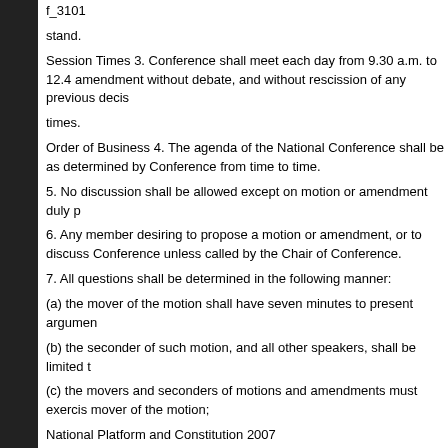f_3101
stand.
Session Times 3. Conference shall meet each day from 9.30 a.m. to 12.4 amendment without debate, and without rescission of any previous decis times.
Order of Business 4. The agenda of the National Conference shall be as determined by Conference from time to time.
5. No discussion shall be allowed except on motion or amendment duly p
6. Any member desiring to propose a motion or amendment, or to discuss Conference unless called by the Chair of Conference.
7. All questions shall be determined in the following manner:
(a) the mover of the motion shall have seven minutes to present argumen
(b) the seconder of such motion, and all other speakers, shall be limited t
(c) the movers and seconders of motions and amendments must exercis mover of the motion;
National Platform and Constitution 2007
Australian Labor Party
44th National Conference NatKOnal COfStItUtIOn,
(d) Conference on motion without debate may extend the time of any spe extensions on the same basis;
(e) the Chair shall call attention to the time of all speakers one minute be later;
(f) after the motion has been moved and seconded, and no speaker rise